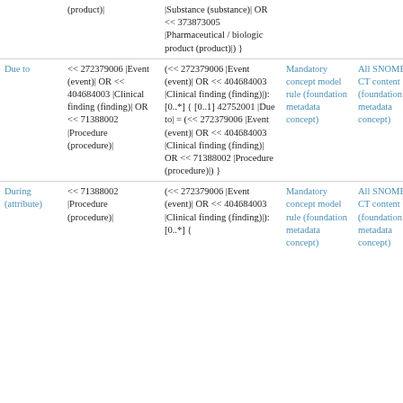| Attribute | Attribute domain | Attribute range | Rule strength | Content type |
| --- | --- | --- | --- | --- |
|  | (product)| | |Substance (substance)| OR << 373873005 |Pharmaceutical / biologic product (product)|) } |  |  |
| Due to | << 272379006 |Event (event)| OR << 404684003 |Clinical finding (finding)| OR << 71388002 |Procedure (procedure)| | (<< 272379006 |Event (event)| OR << 404684003 |Clinical finding (finding)|): [0..*] { [0..1] 42752001 |Due to| = (<< 272379006 |Event (event)| OR << 404684003 |Clinical finding (finding)| OR << 71388002 |Procedure (procedure)|) } | Mandatory concept model rule (foundation metadata concept) | All SNOMED CT content (foundation metadata concept) |
| During (attribute) | << 71388002 |Procedure (procedure)| | (<< 272379006 |Event (event)| OR << 404684003 |Clinical finding (finding)|): [0..*] { | Mandatory concept model rule (foundation metadata concept) | All SNOMED CT content (foundation metadata concept) |